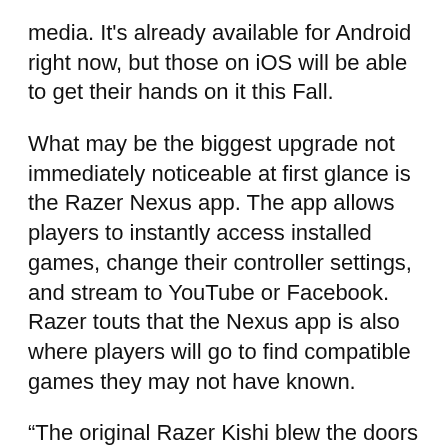media. It's already available for Android right now, but those on iOS will be able to get their hands on it this Fall.
What may be the biggest upgrade not immediately noticeable at first glance is the Razer Nexus app. The app allows players to instantly access installed games, change their controller settings, and stream to YouTube or Facebook. Razer touts that the Nexus app is also where players will go to find compatible games they may not have known.
“The original Razer Kishi blew the doors open for a new category of console-quality controls for the mobile gaming market, and we’re thrilled that Kishi V2 is pushing that